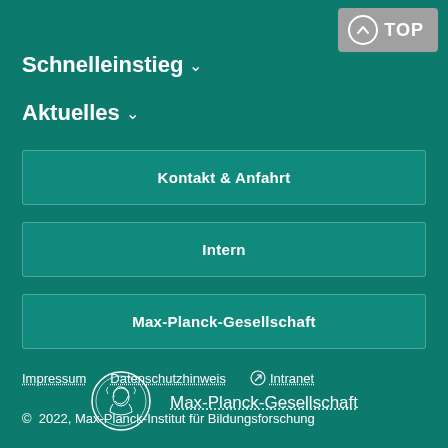↑ TOP
Schnelleinstieg ∨
Aktuelles ∨
Kontakt & Anfahrt
Intern
Max-Planck-Gesellschaft
[Figure (logo): Max-Planck-Gesellschaft circular logo with profile illustration]
Max-Planck-Gesellschaft
Impressum   Datenschutzhinweis   ⊙ Intranet
© 2022, Max-Planck-Institut für Bildungsforschung